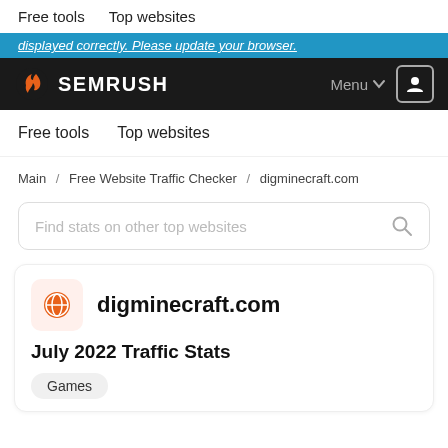Free tools   Top websites
displayed correctly. Please update your browser.
[Figure (logo): Semrush logo with flame icon on black navigation bar, Menu dropdown, and user account icon button]
Free tools   Top websites
Main / Free Website Traffic Checker / digminecraft.com
Find stats on other top websites
digminecraft.com
July 2022 Traffic Stats
Games